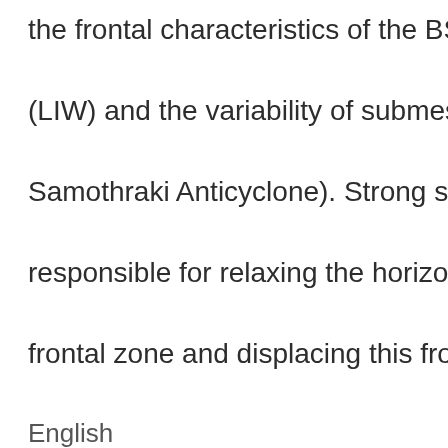the frontal characteristics of the BSW with the Le(LIW) and the variability of submesoscale hydrogSamothraki Anticyclone). Strong southerly wind sresponsible for relaxing the horizontal density grafrontal zone and displacing this front ...
English
Vol. 27 No.2 - 2010
is an issue of Geofizika. Andrija Mohorovičić Geophys
7. Janeković, I., Sikirić, M. D., Tomažić, I. and Ku
the Adriatic Sea surface temperature and salinity